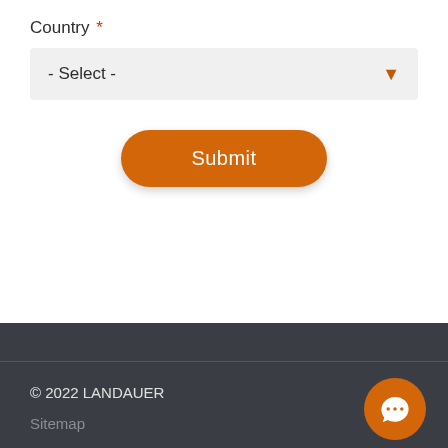Country *
- Select -
Submit
© 2022 LANDAUER
Sitemap
Privacy Policy